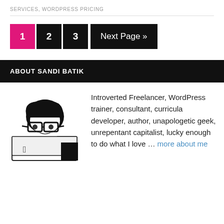SERVICES, WORDPRESS PRICING
1 2 3 Next Page »
ABOUT SANDI BATIK
[Figure (illustration): Black and white illustration of a person with glasses peeking over a laptop, with an Apple logo visible on the laptop.]
Introverted Freelancer, WordPress trainer, consultant, curricula developer, author, unapologetic geek, unrepentant capitalist, lucky enough to do what I love … more about me